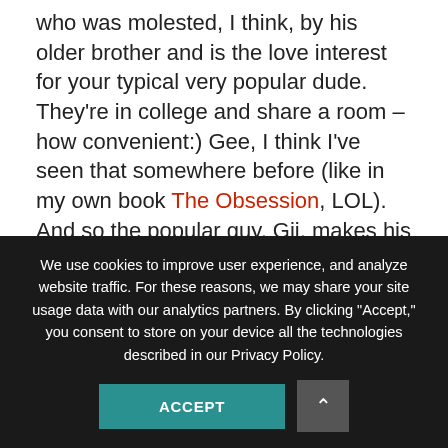who was molested, I think, by his older brother and is the love interest for your typical very popular dude. They're in college and share a room – how convenient:) Gee, I think I've seen that somewhere before (like in my own book The Obsession, LOL). And so the popular guy, Gii, makes his feelings known and protects Takumi in true yaoi, seme fashion.
It looks like the guys don't do too much in terms of sex except for a stolen kiss here or there and lots of gushy "I love you's". Of course, I can always hope. And as I peruse
We use cookies to improve user experience, and analyze website traffic. For these reasons, we may share your site usage data with our analytics partners. By clicking “Accept,” you consent to store on your device all the technologies described in our Privacy Policy.